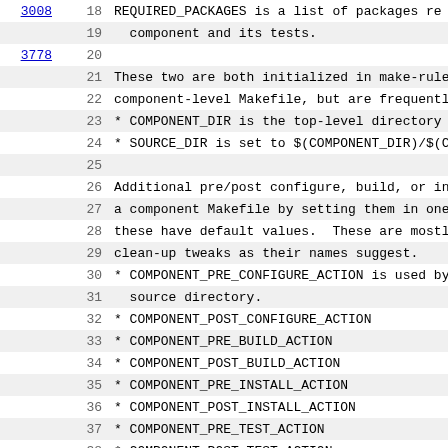Code viewer showing lines 18-40 of a Makefile component documentation
18: REQUIRED_PACKAGES is a list of packages re...
19:   component and its tests.
20: (blank)
21: These two are both initialized in make-rules/...
22: component-level Makefile, but are frequently...
23: * COMPONENT_DIR is the top-level directory of...
24: * SOURCE_DIR is set to $(COMPONENT_DIR)/$(COM...
25: (blank)
26: Additional pre/post configure, build, or inst...
27: a component Makefile by setting them in one o...
28: these have default values.  These are mostly...
29: clean-up tweaks as their names suggest.
30: * COMPONENT_PRE_CONFIGURE_ACTION is used by s...
31:   source directory.
32: * COMPONENT_POST_CONFIGURE_ACTION
33: * COMPONENT_PRE_BUILD_ACTION
34: * COMPONENT_POST_BUILD_ACTION
35: * COMPONENT_PRE_INSTALL_ACTION
36: * COMPONENT_POST_INSTALL_ACTION
37: * COMPONENT_PRE_TEST_ACTION
38: * COMPONENT_POST_TEST_ACTION
39: (blank)
40: If component specific make targets need to be...